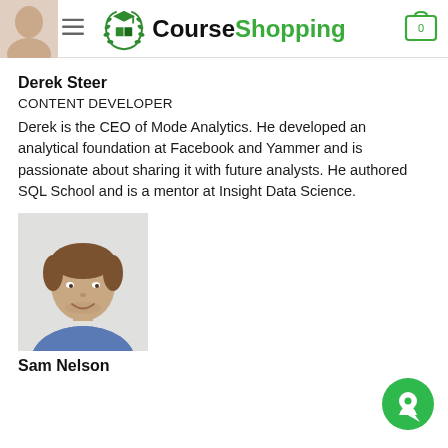CourseShopping
Derek Steer
CONTENT DEVELOPER
Derek is the CEO of Mode Analytics. He developed an analytical foundation at Facebook and Yammer and is passionate about sharing it with future analysts. He authored SQL School and is a mentor at Insight Data Science.
[Figure (photo): Headshot photo of Sam Nelson, a young man with brown hair wearing a blue shirt, smiling against a light background.]
Sam Nelson